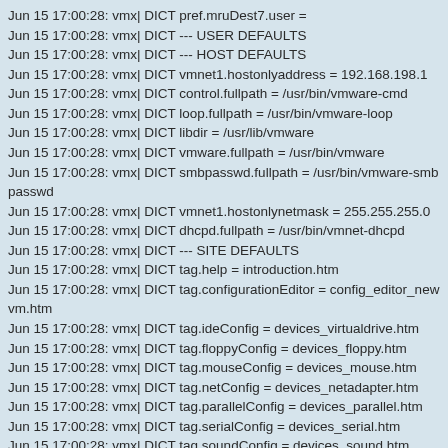Jun 15 17:00:28: vmx| DICT pref.mruDest7.user =
Jun 15 17:00:28: vmx| DICT --- USER DEFAULTS
Jun 15 17:00:28: vmx| DICT --- HOST DEFAULTS
Jun 15 17:00:28: vmx| DICT vmnet1.hostonlyaddress = 192.168.198.1
Jun 15 17:00:28: vmx| DICT control.fullpath = /usr/bin/vmware-cmd
Jun 15 17:00:28: vmx| DICT loop.fullpath = /usr/bin/vmware-loop
Jun 15 17:00:28: vmx| DICT libdir = /usr/lib/vmware
Jun 15 17:00:28: vmx| DICT vmware.fullpath = /usr/bin/vmware
Jun 15 17:00:28: vmx| DICT smbpasswd.fullpath = /usr/bin/vmware-smbpasswd
Jun 15 17:00:28: vmx| DICT vmnet1.hostonlynetmask = 255.255.255.0
Jun 15 17:00:28: vmx| DICT dhcpd.fullpath = /usr/bin/vmnet-dhcpd
Jun 15 17:00:28: vmx| DICT --- SITE DEFAULTS
Jun 15 17:00:28: vmx| DICT tag.help = introduction.htm
Jun 15 17:00:28: vmx| DICT tag.configurationEditor = config_editor_newvm.htm
Jun 15 17:00:28: vmx| DICT tag.ideConfig = devices_virtualdrive.htm
Jun 15 17:00:28: vmx| DICT tag.floppyConfig = devices_floppy.htm
Jun 15 17:00:28: vmx| DICT tag.mouseConfig = devices_mouse.htm
Jun 15 17:00:28: vmx| DICT tag.netConfig = devices_netadapter.htm
Jun 15 17:00:28: vmx| DICT tag.parallelConfig = devices_parallel.htm
Jun 15 17:00:28: vmx| DICT tag.serialConfig = devices_serial.htm
Jun 15 17:00:28: vmx| DICT tag.soundConfig = devices_sound.htm
Jun 15 17:00:28: vmx| DICT tag.memConfig = configvm_memory.htm
Jun 15 17:00:28: vmx| DICT tag.miscConfig = configvm.htm